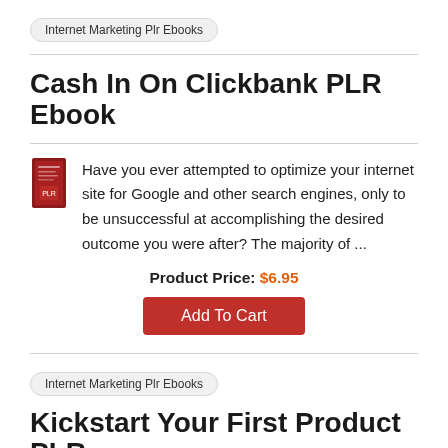Internet Marketing Plr Ebooks
Cash In On Clickbank PLR Ebook
Have you ever attempted to optimize your internet site for Google and other search engines, only to be unsuccessful at accomplishing the desired outcome you were after? The majority of ...
Product Price: $6.95
Add To Cart
Internet Marketing Plr Ebooks
Kickstart Your First Product PLR